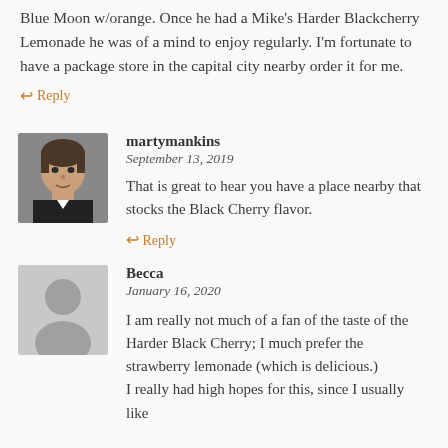Blue Moon w/orange. Once he had a Mike's Harder Blackcherry Lemonade he was of a mind to enjoy regularly. I'm fortunate to have a package store in the capital city nearby order it for me.
↩ Reply
martymankins
September 13, 2019
That is great to hear you have a place nearby that stocks the Black Cherry flavor.
↩ Reply
Becca
January 16, 2020
I am really not much of a fan of the taste of the Harder Black Cherry; I much prefer the strawberry lemonade (which is delicious.) I really had high hopes for this, since I usually like